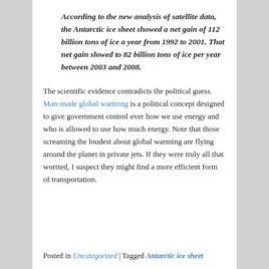According to the new analysis of satellite data, the Antarctic ice sheet showed a net gain of 112 billion tons of ice a year from 1992 to 2001. That net gain slowed to 82 billion tons of ice per year between 2003 and 2008.
The scientific evidence contradicts the political guess. Man-made global warming is a political concept designed to give government control over how we use energy and who is allowed to use how much energy. Note that those screaming the loudest about global warming are flying around the planet in private jets. If they were truly all that worried, I suspect they might find a more efficient form of transportation.
Posted in Uncategorized | Tagged Antarctic ice sheet